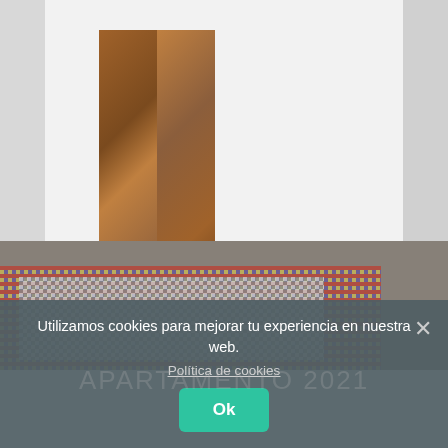[Figure (photo): Interior room photo showing a wooden double door with glass panels and venetian blinds, white walls, and decorative patterned hydraulic tile floor with colorful geometric designs]
Utilizamos cookies para mejorar tu experiencia en nuestra web.
Política de cookies
Ok